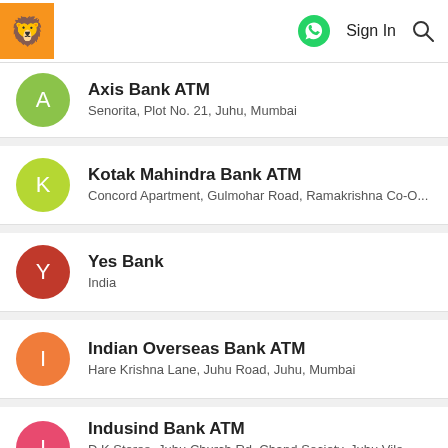Sign In
Axis Bank ATM
Senorita, Plot No. 21, Juhu, Mumbai
Kotak Mahindra Bank ATM
Concord Apartment, Gulmohar Road, Ramakrishna Co-O...
Yes Bank
India
Indian Overseas Bank ATM
Hare Krishna Lane, Juhu Road, Juhu, Mumbai
Indusind Bank ATM
D.K Stores, Juhu Church Rd, Chand Society, Juhu Vile Par...
SBH
Dakshinavan South Indian Restaurant, 7, Girdhar Niwas, ...